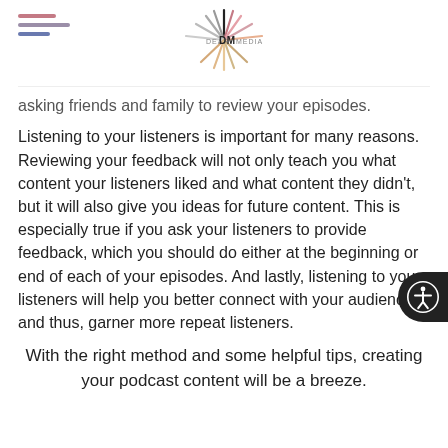DEAR DM MEDIA
asking friends and family to review your episodes.
Listening to your listeners is important for many reasons. Reviewing your feedback will not only teach you what content your listeners liked and what content they didn't, but it will also give you ideas for future content. This is especially true if you ask your listeners to provide feedback, which you should do either at the beginning or end of each of your episodes. And lastly, listening to your listeners will help you better connect with your audience and thus, garner more repeat listeners.
With the right method and some helpful tips, creating your podcast content will be a breeze.